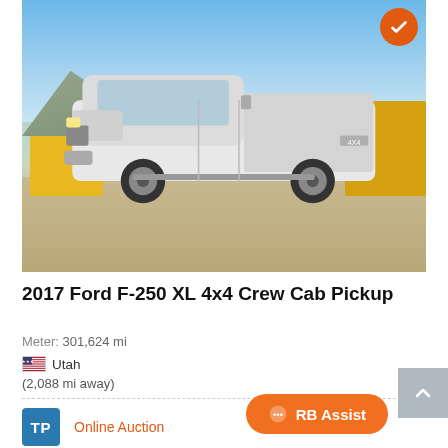[Figure (photo): White 2017 Ford F-250 XL 4x4 Crew Cab Pickup truck parked at a construction/equipment yard with mountains in the background and heavy equipment (excavators, bulldozers) visible. A verified orange checkmark badge appears in the top right corner of the image.]
2017 Ford F-250 XL 4x4 Crew Cab Pickup
Meter: 301,624 mi
Utah
(2,088 mi away)
Online Auction